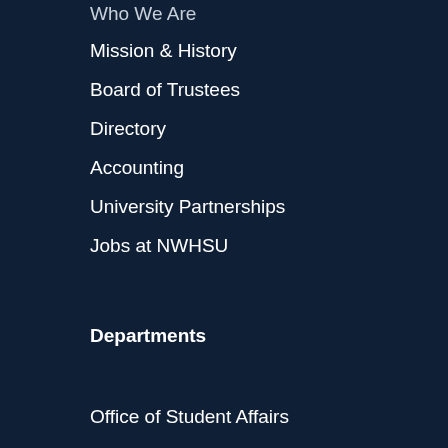Who We Are
Mission & History
Board of Trustees
Directory
Accounting
University Partnerships
Jobs at NWHSU
Departments
Office of Student Affairs
Office of the Registrar
Office of IT
Admissions